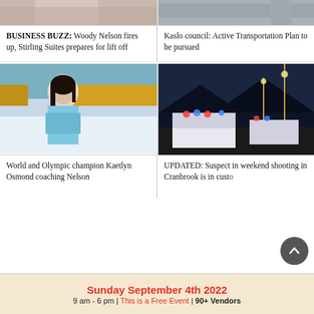[Figure (photo): Partial photo of people, top of card, cropped]
BUSINESS BUZZ: Woody Nelson fires up, Stirling Suites prepares for lift off
[Figure (photo): Street scene photo, top of card, cropped]
Kaslo council: Active Transportation Plan to be pursued
[Figure (photo): Woman with dark hair in ice rink arena wearing light blue sweater]
World and Olympic champion Kaetlyn Osmond coaching Nelson
[Figure (photo): Police cars with lights on at night on street]
UPDATED: Suspect in weekend shooting in Cranbrook is in custody
Sunday September 4th 2022
9 am - 6 pm | This is a Free Event | 90+ Vendors